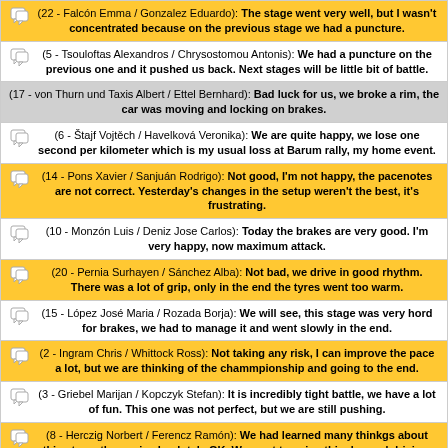(22 - Falcón Emma / Gonzalez Eduardo): The stage went very well, but I wasn't concentrated because on the previous stage we had a puncture.
(5 - Tsouloftas Alexandros / Chrysostomou Antonis): We had a puncture on the previous one and it pushed us back. Next stages will be little bit of battle.
(17 - von Thurn und Taxis Albert / Ettel Bernhard): Bad luck for us, we broke a rim, the car was moving and locking on brakes.
(6 - Štajf Vojtěch / Havelková Veronika): We are quite happy, we lose one second per kilometer which is my usual loss at Barum rally, my home event.
(14 - Pons Xavier / Sanjuán Rodrigo): Not good, I'm not happy, the pacenotes are not correct. Yesterday's changes in the setup weren't the best, it's frustrating.
(10 - Monzón Luis / Deniz Jose Carlos): Today the brakes are very good. I'm very happy, now maximum attack.
(20 - Pernia Surhayen / Sánchez Alba): Not bad, we drive in good rhythm. There was a lot of grip, only in the end the tyres went too warm.
(15 - López José Maria / Rozada Borja): We will see, this stage was very hord for brakes, we had to manage it and went slowly in the end.
(2 - Ingram Chris / Whittock Ross): Not taking any risk, I can improve the pace a lot, but we are thinking of the chammpionship and going to the end.
(3 - Griebel Marijan / Kopczyk Stefan): It is incredibly tight battle, we have a lot of fun. This one was not perfect, but we are still pushing.
(8 - Herczig Norbert / Ferencz Ramón): We had learned many thinkgs about this stage, the car is absolutely OK. We want to enjoy this day and driving.